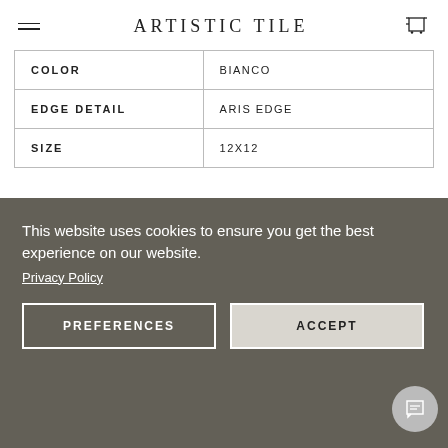ARTISTIC TILE
| COLOR | BIANCO |
| EDGE DETAIL | ARIS EDGE |
| SIZE | 12X12 |
Installation & Maintenance
This website uses cookies to ensure you get the best experience on our website.
Privacy Policy
PREFERENCES
ACCEPT
| GROUT | ARDEX FRAC MICROGROUT |
| OPTION 1 | UNSANDED |